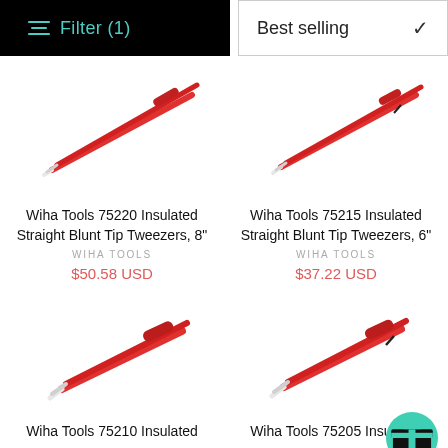Filter (1)  |  Best selling
[Figure (photo): Red Wiha Tools 75220 insulated straight blunt tip tweezers, 8 inch, shown diagonally]
Wiha Tools 75220 Insulated Straight Blunt Tip Tweezers, 8"
WIHA TOOLS
$50.58 USD
[Figure (photo): Red Wiha Tools 75215 insulated straight blunt tip tweezers, 6 inch, shown diagonally]
Wiha Tools 75215 Insulated Straight Blunt Tip Tweezers, 6"
WIHA TOOLS
$37.22 USD
[Figure (photo): Red Wiha Tools 75210 insulated tweezers, shown diagonally]
Wiha Tools 75210 Insulated
[Figure (photo): Red Wiha Tools 75205 insulated tweezers, shown diagonally, with green gift badge overlay]
Wiha Tools 75205 Insulated